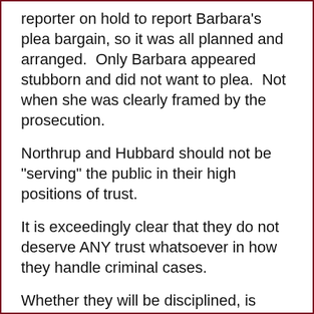reporter on hold to report Barbara's plea bargain, so it was all planned and arranged.  Only Barbara appeared stubborn and did not want to plea.  Not when she was clearly framed by the prosecution.
Northrup and Hubbard should not be "serving" the public in their high positions of trust.
It is exceedingly clear that they do not deserve ANY trust whatsoever in how they handle criminal cases.
Whether they will be disciplined, is another question, but complaints against them for misconduct in this case will most assuredly be filed.
As to how those complaints will be resolved, stay tuned, I will report it here.